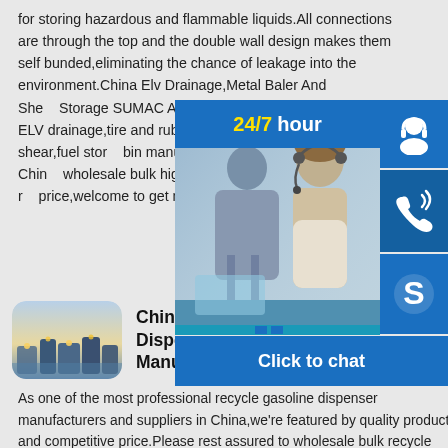for storing hazardous and flammable liquids.All connections are through the top and the double wall design makes them self bunded,eliminating the chance of leakage into the environment.China Elv Drainage,Metal Baler And Shear,Fuel Storage SUMAC Auto Recycling Equipment provides professional ELV drainage,tire and rubber granulating machine,metal baler and shear,fuel storage tank and oil bin manufacturers and suppliers in China,you can wholesale bulk high quality products at manufacturer price,welcome to get more information from our.
[Figure (photo): Chat widget overlay with 24/7 hour banner, customer service photo with two people at computers, headset icon, phone icon, Skype icon, and Click to chat button]
[Figure (photo): Product thumbnail image showing an industrial facility or tank farm at dusk with blue sky]
China Recycle Gasoline Dispenser Manufacturers,Suppliers
As one of the most professional recycle gasoline dispenser manufacturers and suppliers in China,we're featured by quality products and competitive price.Please rest assured to wholesale bulk recycle gasoline dispenser from our